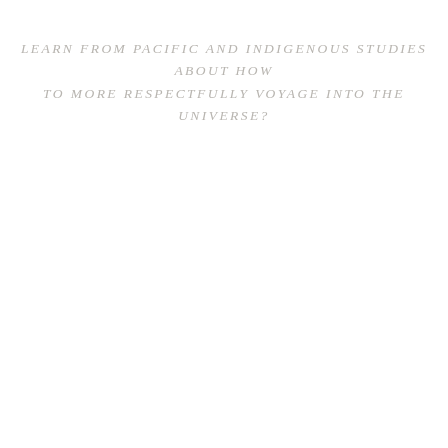LEARN FROM PACIFIC AND INDIGENOUS STUDIES ABOUT HOW TO MORE RESPECTFULLY VOYAGE INTO THE UNIVERSE?